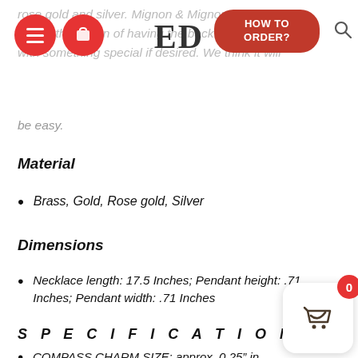rose gold and silver. Mignon & Mignon have also added the option of having the back engraved with something special if desired. We think it will be easy.
Material
Brass, Gold, Rose gold, Silver
Dimensions
Necklace length: 17.5 Inches; Pendant height: .71 Inches; Pendant width: .71 Inches
SPECIFICATIONS
COMPASS CHARM SIZE: approx. 0.25″ in diameter (6mm)